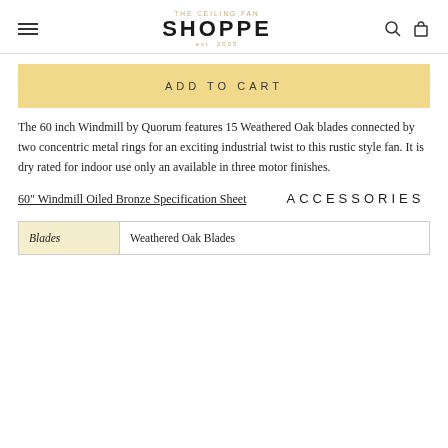THE CEILING FAN SHOPPE est. 2005
ADD TO CART
The 60 inch Windmill by Quorum features 15 Weathered Oak blades connected by two concentric metal rings for an exciting industrial twist to this rustic style fan. It is dry rated for indoor use only an available in three motor finishes.
60" Windmill Oiled Bronze Specification Sheet
ACCESSORIES
|  |  |
| --- | --- |
| Blades | Weathered Oak Blades |